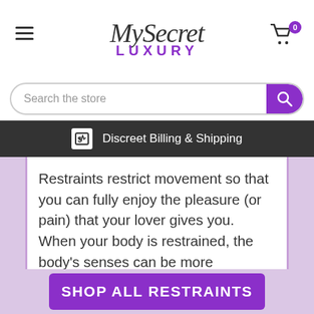MySecret LUXURY
Search the store
Discreet Billing & Shipping
Restraints restrict movement so that you can fully enjoy the pleasure (or pain) that your lover gives you. When your body is restrained, the body's senses can be more heightened. You can restrain your partner's wrists or ankles... or both!
SHOP ALL RESTRAINTS